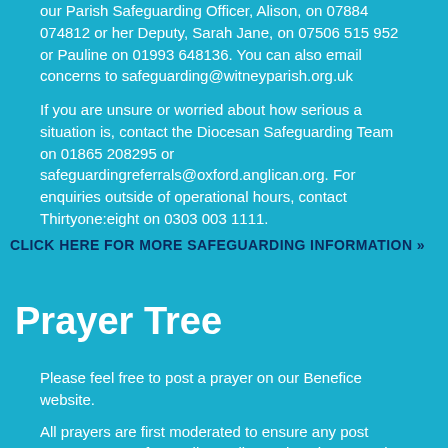our Parish Safeguarding Officer, Alison, on 07884 074812 or her Deputy, Sarah Jane, on 07506 515 952 or Pauline on 01993 648136. You can also email concerns to safeguarding@witneyparish.org.uk
If you are unsure or worried about how serious a situation is, contact the Diocesan Safeguarding Team on 01865 208295 or safeguardingreferrals@oxford.anglican.org. For enquiries outside of operational hours, contact Thirtyone:eight on 0303 003 1111.
CLICK HERE FOR MORE SAFEGUARDING INFORMATION »
Prayer Tree
Please feel free to post a prayer on our Benefice website.
All prayers are first moderated to ensure any post respects our Safeguarding Policy and so there may be a small delay before they are published on our website.